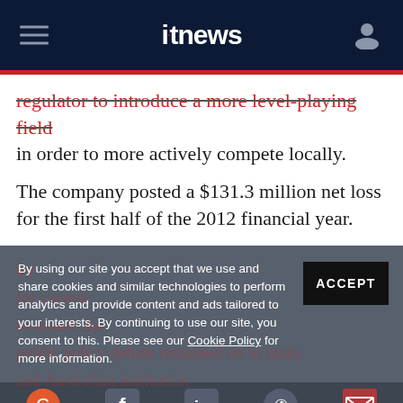itnews
regulator to introduce a more level-playing field in order to more actively compete locally.
The company posted a $131.3 million net loss for the first half of the 2012 financial year.
By using our site you accept that we use and share cookies and similar technologies to perform analytics and provide content and ads tailored to your interests. By continuing to use our site, you consent to this. Please see our Cookie Policy for more information.